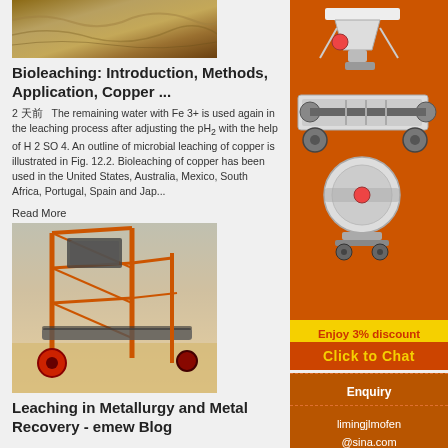[Figure (photo): Close-up photo of sandy/rocky earth surface with linear grooves, brown/tan coloring]
Bioleaching: Introduction, Methods, Application, Copper ...
2 天前  The remaining water with Fe 3+ is used again in the leaching process after adjusting the pH 2 with the help of H 2 SO 4. An outline of microbial leaching of copper is illustrated in Fig. 12.2. Bioleaching of copper has been used in the United States, Australia, Mexico, South Africa, Portugal, Spain and Japan...
Read More
[Figure (photo): Industrial photo of metal ore processing machinery with conveyor belts and large orange structural frame, outdoor mining facility]
Leaching in Metallurgy and Metal Recovery - emew Blog
[Figure (photo): Sidebar advertisement showing industrial crushing/milling machines on orange background with discount offer]
Enjoy 3% discount
Click to Chat
Enquiry
limingjlmofen @sina.com